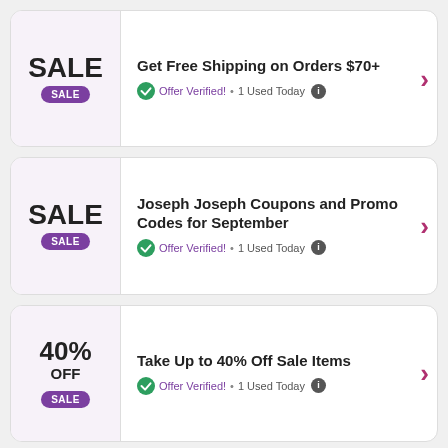[Figure (infographic): Coupon card 1: SALE badge on left, 'Get Free Shipping on Orders $70+' with Offer Verified and 1 Used Today on right]
[Figure (infographic): Coupon card 2: SALE badge on left, 'Joseph Joseph Coupons and Promo Codes for September' with Offer Verified and 1 Used Today on right]
[Figure (infographic): Coupon card 3: 40% OFF SALE badge on left, 'Take Up to 40% Off Sale Items' with Offer Verified and 1 Used Today on right]